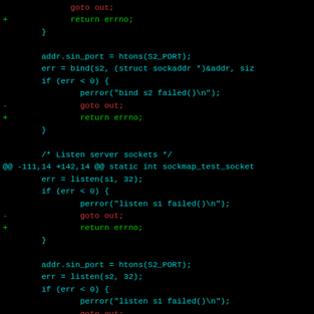[Figure (screenshot): A code diff view showing C source code changes in a git diff format. Dark background with cyan/teal normal code, red for removed lines (goto out;), and green for added lines (return errno;). The diff shows socket binding and listening code with error handling changes.]